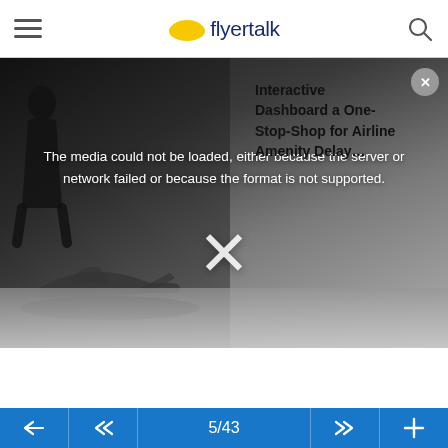flyertalk
[Figure (screenshot): A video player showing an airport scene with a person and airplane in background. An error message reads 'The media could not be loaded, either because the server or network failed or because the format is not supported.' A large X dismiss button is shown. Overlaid text reads 'Interactive Dashboard a One-Stop-Shop for Airline Amenity Delay...']
5/43